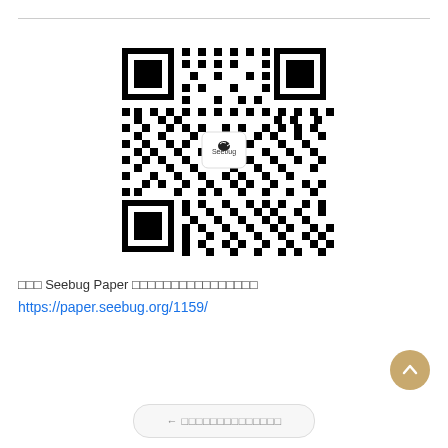[Figure (other): QR code for Seebug Paper with Seebug logo in center]
关注 Seebug Paper 我们一起挖掘更多有趣的漏洞
https://paper.seebug.org/1159/